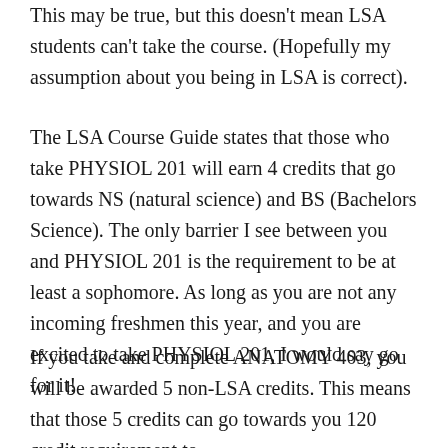This may be true, but this doesn't mean LSA students can't take the course. (Hopefully my assumption about you being in LSA is correct).
The LSA Course Guide states that those who take PHYSIOL 201 will earn 4 credits that go towards NS (natural science) and BS (Bachelors Science). The only barrier I see between you and PHYSIOL 201 is the requirement to be at least a sophomore. As long as you are not any incoming freshmen this year, and you are excited to take PHYSIOL 201, I would say go for it!
If you take and complete ANATOMY 403, you will be awarded 5 non-LSA credits. This means that those 5 credits can go towards you 120 credit requirement to graduate, but those credits will NOT go towards the...